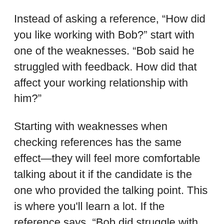Instead of asking a reference, “How did you like working with Bob?” start with one of the weaknesses. “Bob said he struggled with feedback. How did that affect your working relationship with him?”
Starting with weaknesses when checking references has the same effect—they will feel more comfortable talking about it if the candidate is the one who provided the talking point. This is where you'll learn a lot. If the reference says, “Bob did struggle with feedback but he worked on it and got better over time,” you can feel good about the hire. But if they say,